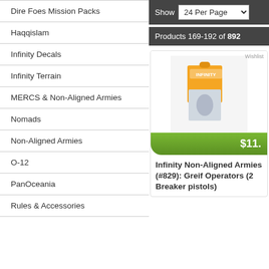Dire Foes Mission Packs
Haqqislam
Infinity Decals
Infinity Terrain
MERCS & Non-Aligned Armies
Nomads
Non-Aligned Armies
O-12
PanOceania
Rules & Accessories
Show 24 Per Page
Products 169-192 of 892
[Figure (photo): Product photo of Infinity miniature game box set with orange Infinity branding]
$11.
Infinity Non-Aligned Armies (#829): Greif Operators (2 Breaker pistols)